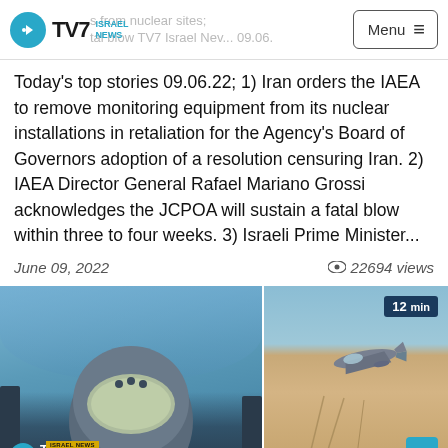TV7 ISRAEL NEWS — Menu
Today's top stories 09.06.22; 1) Iran orders the IAEA to remove monitoring equipment from its nuclear installations in retaliation for the Agency's Board of Governors adoption of a resolution censuring Iran. 2) IAEA Director General Rafael Mariano Grossi acknowledges the JCPOA will sustain a fatal blow within three to four weeks. 3) Israeli Prime Minister...
June 09, 2022   22694 views
[Figure (photo): Left: Close-up of a military pilot's helmet in a cockpit with sky background, with TV7 Israel News watermark. Right: Aerial view of a fighter jet flying over desert terrain, with a '12 min' duration badge and scroll-up button.]